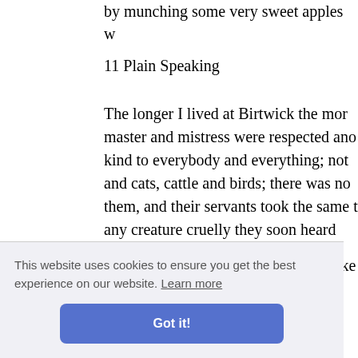by munching some very sweet apples w
11 Plain Speaking
The longer I lived at Birtwick the mor master and mistress were respected ano kind to everybody and everything; not and cats, cattle and birds; there was no them, and their servants took the same t any creature cruelly they soon heard abo
The squire and Farmer Grey had worke ses done heavily lad on with t as.
thstand o too, used to come down very heavy so one morning when we was a powerfu
This website uses cookies to ensure you get the best experience on our website. Learn more
Got it!